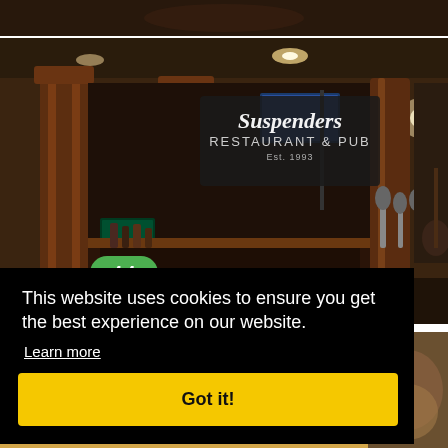[Figure (photo): Top portion of a dark restaurant interior photo, partially cropped]
[Figure (photo): Interior of Suspenders Restaurant & Pub, Est. 1993, showing wooden columns, bar area with tap handles, neon and lit signs, dark ambiance. Rating badge showing 4.4 in green.]
This website uses cookies to ensure you get the best experience on our website.
Learn more
Got it!
[Figure (photo): Bottom portion showing a food item (appears to be a baked/cheesy dish) partially visible]